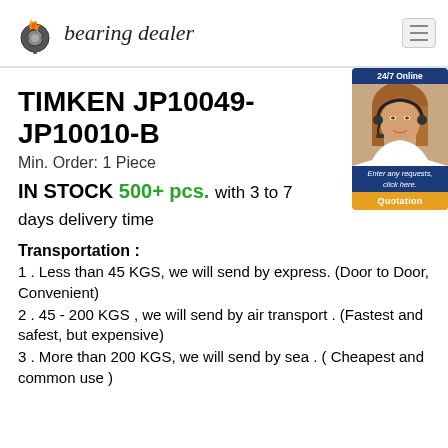[Figure (logo): Bearing dealer logo with flaming gear icon and italic text 'bearing dealer']
TIMKEN JP10049-JP10010-B
Min. Order: 1 Piece
IN STOCK 500+ pcs. with 3 to 7 days delivery time
[Figure (photo): 24/7 Online chat widget with woman wearing headset, tagline 'Enter any requests, click here.' and orange Quotation button]
Transportation :
1 . Less than 45 KGS, we will send by express. (Door to Door, Convenient)
2 . 45 - 200 KGS , we will send by air transport . (Fastest and safest, but expensive)
3 . More than 200 KGS, we will send by sea . ( Cheapest and common use )